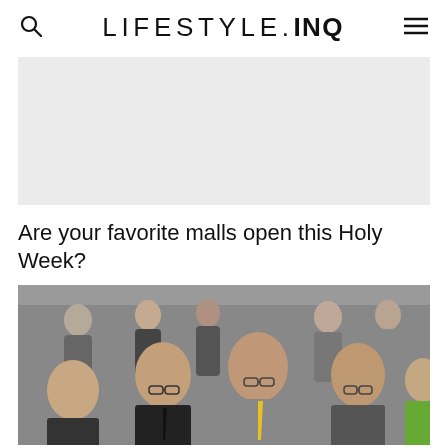LIFESTYLE.INQ
[Figure (other): Advertisement placeholder box with light gray background]
Are your favorite malls open this Holy Week?
[Figure (photo): Group of Asian men in business attire at an event, smiling at the camera]